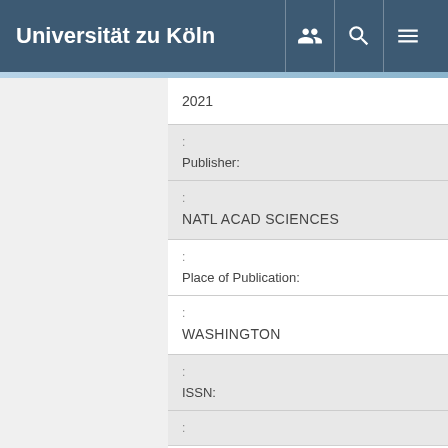Universität zu Köln
| 2021 |
| : | Publisher: |
| : | NATL ACAD SCIENCES |
| : | Place of Publication: |
| : | WASHINGTON |
| : | ISSN: |
| : |